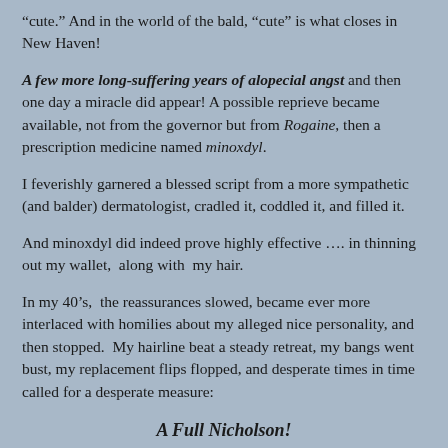“cute.”  And in the world of the bald, “cute” is what closes in New Haven!
A few more long-suffering years of alopecial angst and then one day a miracle did appear!  A possible reprieve became available, not from the governor but from Rogaine, then a prescription medicine named minoxdyl.
I feverishly garnered a blessed script from a more sympathetic (and balder) dermatologist, cradled it, coddled it, and filled it.
And minoxdyl did indeed prove highly effective …. in thinning out my wallet,  along with  my hair.
In my 40’s,  the reassurances slowed, became ever more interlaced with homilies about my alleged nice personality, and then stopped.  My hairline beat a steady retreat, my bangs went bust, my replacement flips flopped, and desperate times in time called for a desperate measure:
A Full Nicholson!